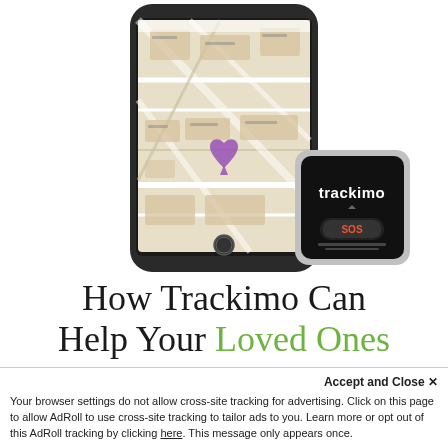[Figure (photo): A smartphone displaying a Google Maps view with a heart-shaped pin location marker, alongside a small square Trackimo GPS tracking device with an SOS button and the trackimo logo on its black face.]
How Trackimo Can Help Your Loved Ones
Accept and Close ×
Your browser settings do not allow cross-site tracking for advertising. Click on this page to allow AdRoll to use cross-site tracking to tailor ads to you. Learn more or opt out of this AdRoll tracking by clicking here. This message only appears once.